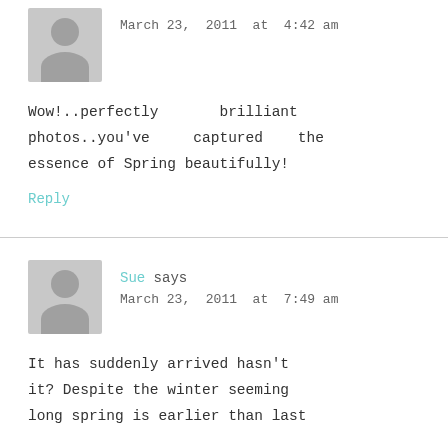March 23, 2011 at 4:42 am
Wow!..perfectly brilliant photos..you've captured the essence of Spring beautifully!
Reply
Sue says
March 23, 2011 at 7:49 am
It has suddenly arrived hasn't it? Despite the winter seeming long spring is earlier than last